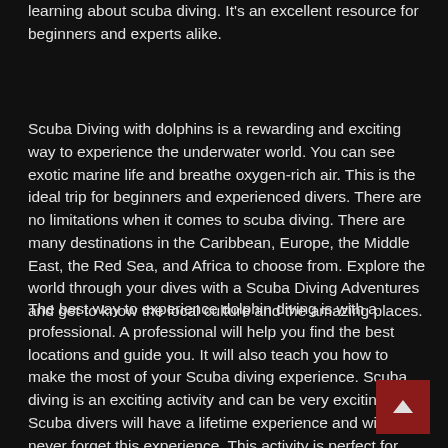learning about scuba diving. It's an excellent resource for beginners and experts alike.
Scuba Diving with dolphins is a rewarding and exciting way to experience the underwater world. You can see exotic marine life and breathe oxygen-rich air. This is the ideal trip for beginners and experienced divers. There are no limitations when it comes to scuba diving. There are many destinations in the Caribbean, Europe, the Middle East, the Red Sea, and Africa to choose from. Explore the world through your dives with a Scuba Diving Adventures and get to know the local culture and the amazing places.
The best way to experience dolphin diving is with a professional. A professional will help you find the best locations and guide you. It will also teach you how to make the most of your Scuba diving experience. Scuba diving is an exciting activity and can be very exciting. Scuba divers will have a lifetime experience and will never forget this experience. This activity is perfect for people who love sharks. For this trip, you will be in a steel cage with the sharks.